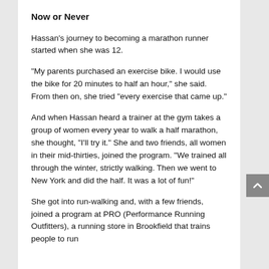Now or Never
Hassan's journey to becoming a marathon runner started when she was 12.
“My parents purchased an exercise bike. I would use the bike for 20 minutes to half an hour,” she said. From then on, she tried “every exercise that came up.”
And when Hassan heard a trainer at the gym takes a group of women every year to walk a half marathon, she thought, “I’ll try it.” She and two friends, all women in their mid-thirties, joined the program. “We trained all through the winter, strictly walking. Then we went to New York and did the half. It was a lot of fun!”
She got into run-walking and, with a few friends, joined a program at PRO (Performance Running Outfitters), a running store in Brookfield that trains people to run…